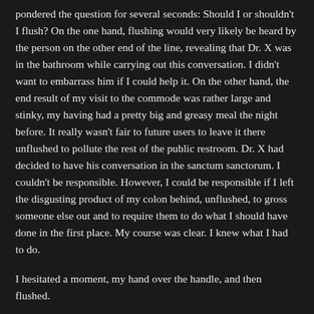pondered the question for several seconds: Should I or shouldn't I flush? On the one hand, flushing would very likely be heard by the person on the other end of the line, revealing that Dr. X was in the bathroom while carrying out this conversation. I didn't want to embarrass him if I could help it. On the other hand, the end result of my visit to the commode was rather large and stinky, my having had a pretty big and greasy meal the night before. It really wasn't fair to future users to leave it there unflushed to pollute the rest of the public restroom. Dr. X had decided to have his conversation in the sanctum sanctorum. I couldn't be responsible. However, I could be responsible if I left the disgusting product of my colon behind, unflushed, to gross someone else out and to require them to do what I should have done in the first place. My course was clear. I knew what I had to do.
I hesitated a moment, my hand over the handle, and then flushed.